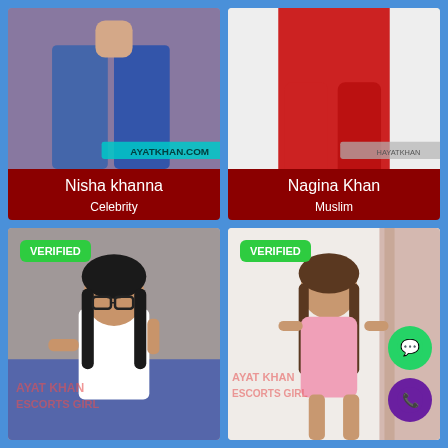[Figure (photo): Photo of Nisha Khanna showing lower body in jeans with AYATKHAN.COM watermark]
Nisha khanna
Celebrity
[Figure (photo): Photo of Nagina Khan in red outfit]
Nagina Khan
Muslim
[Figure (photo): VERIFIED photo of young woman with glasses and pigtails, AYAT KHAN ESCORTS GIRL watermark]
[Figure (photo): VERIFIED photo of young woman in pink dress near curtain, AYAT KHAN ESCORTS GIRL watermark, with WhatsApp and phone FABs]